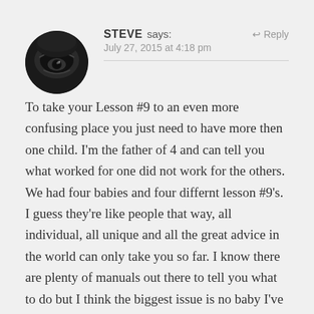[Figure (photo): Circular avatar photo showing a close-up of a person's eye in black and white]
STEVE says:
Reply
July 27, 2015 at 4:18 pm
To take your Lesson #9 to an even more confusing place you just need to have more then one child. I'm the father of 4 and can tell you what worked for one did not work for the others. We had four babies and four differnt lesson #9's. I guess they're like people that way, all individual, all unique and all the great advice in the world can only take you so far. I know there are plenty of manuals out there to tell you what to do but I think the biggest issue is no baby I've ever met has read one because they're